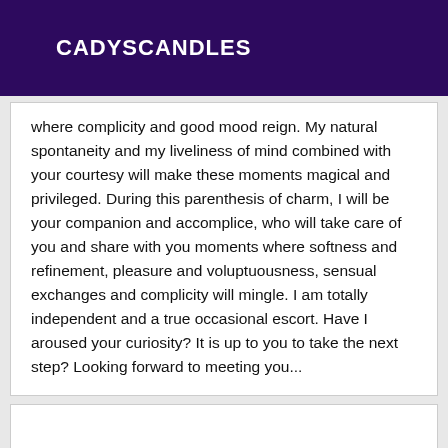CADYSCANDLES
where complicity and good mood reign. My natural spontaneity and my liveliness of mind combined with your courtesy will make these moments magical and privileged. During this parenthesis of charm, I will be your companion and accomplice, who will take care of you and share with you moments where softness and refinement, pleasure and voluptuousness, sensual exchanges and complicity will mingle. I am totally independent and a true occasional escort. Have I aroused your curiosity? It is up to you to take the next step? Looking forward to meeting you...
[Figure (other): Empty white box placeholder area]